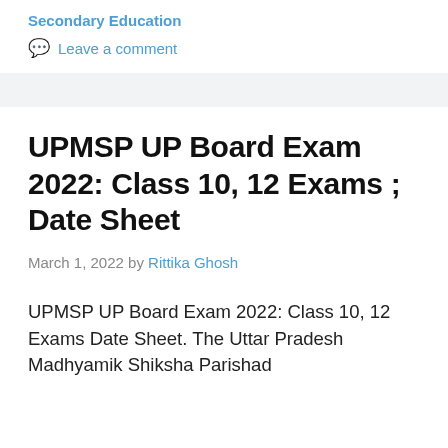Secondary Education
💬 Leave a comment
UPMSP UP Board Exam 2022: Class 10, 12 Exams ; Date Sheet
March 1, 2022 by Rittika Ghosh
UPMSP UP Board Exam 2022: Class 10, 12 Exams Date Sheet. The Uttar Pradesh Madhyamik Shiksha Parishad